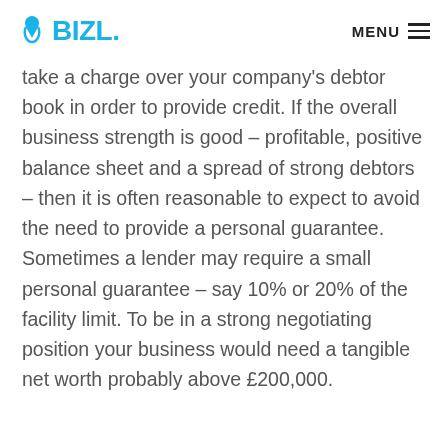BIZL. MENU
take a charge over your company's debtor book in order to provide credit. If the overall business strength is good – profitable, positive balance sheet and a spread of strong debtors – then it is often reasonable to expect to avoid the need to provide a personal guarantee. Sometimes a lender may require a small personal guarantee – say 10% or 20% of the facility limit. To be in a strong negotiating position your business would need a tangible net worth probably above £200,000.